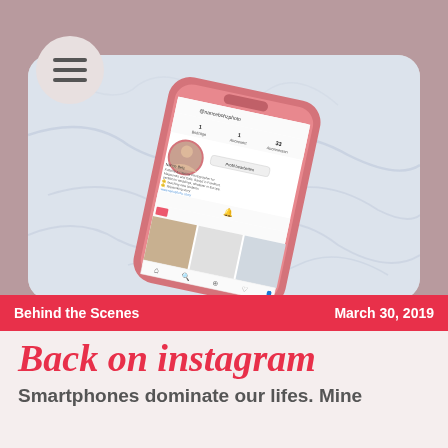[Figure (screenshot): A pink smartphone displaying an Instagram profile page, tilted at an angle on a marble background. The Instagram profile shows a user named Nance Belz with profile photo, follower counts, and a post thumbnail.]
Behind the Scenes
March 30, 2019
Back on instagram
Smartphones dominate our lifes. Mine